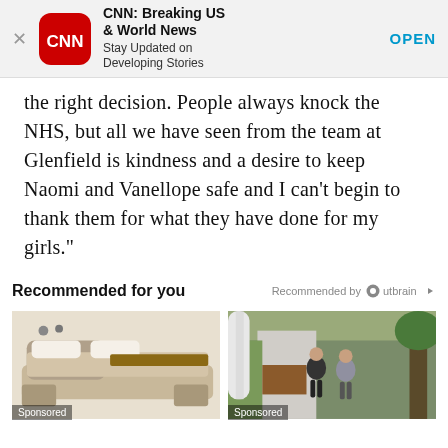[Figure (screenshot): CNN Breaking US & World News app advertisement banner with CNN logo, title, subtitle and OPEN button]
the right decision. People always knock the NHS, but all we have seen from the team at Glenfield is kindness and a desire to keep Naomi and Vanellope safe and I can’t begin to thank them for what they have done for my girls.”
Recommended for you
Recommended by Outbrain
[Figure (photo): Advertisement image showing a luxury multi-function bed with storage drawers and reclining sections. Labeled Sponsored.]
[Figure (photo): Advertisement image showing two women running on a sidewalk from a security camera perspective. Labeled Sponsored.]